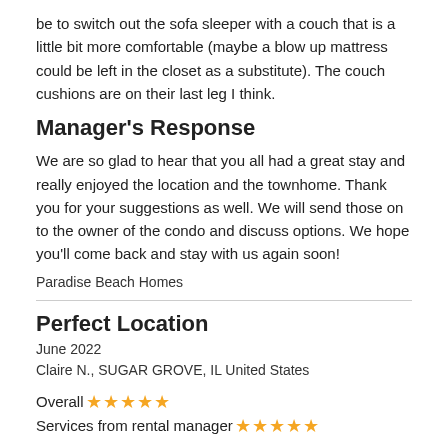be to switch out the sofa sleeper with a couch that is a little bit more comfortable (maybe a blow up mattress could be left in the closet as a substitute). The couch cushions are on their last leg I think.
Manager's Response
We are so glad to hear that you all had a great stay and really enjoyed the location and the townhome. Thank you for your suggestions as well. We will send those on to the owner of the condo and discuss options. We hope you'll come back and stay with us again soon!
Paradise Beach Homes
Perfect Location
June 2022
Claire N., SUGAR GROVE, IL United States
Overall ★★★★★
Services from rental manager ★★★★★